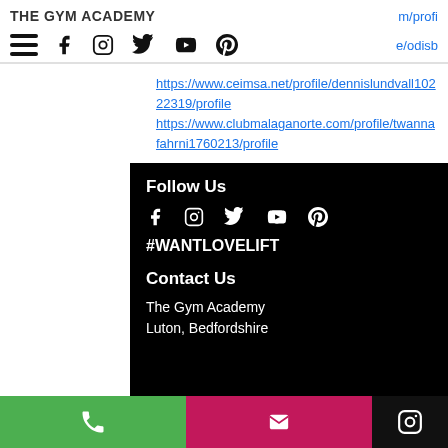THE GYM ACADEMY
m/profi
[Figure (infographic): Navigation bar with hamburger menu icon, Facebook, Instagram, Twitter, YouTube, Pinterest social media icons, and partial link text 'e/odisb']
https://www.ceimsa.net/profile/dennislundvall10222319/profile https://www.clubmalaganorte.com/profile/twannafahrni1760213/profile
Follow Us
[Figure (infographic): Social media icons row in white: Facebook, Instagram, Twitter, YouTube, Pinterest on black background]
#WANTLOVELIFT
Contact Us
The Gym Academy
Luton, Bedfordshire
[Figure (infographic): Bottom action bar with green phone button, pink email button, black Instagram button]